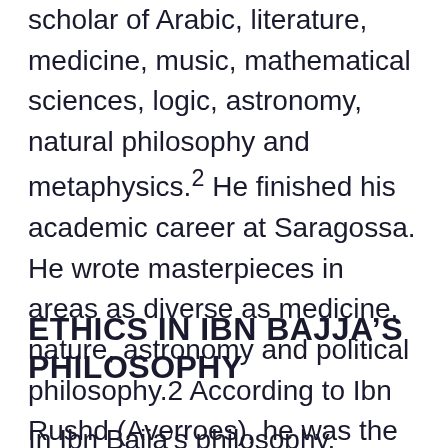scholar of Arabic, literature, medicine, music, mathematical sciences, logic, astronomy, natural philosophy and metaphysics.2 He finished his academic career at Saragossa. He wrote masterpieces in areas as diverse as medicine, nature, astronomy and political philosophy.2 According to Ibn Rushd (Averroes), he was the first scholar who proposed a way for the “Rule of the Solitary” in Spain.3
ETHICS IN IBN BAJJA’S PHILOSOPHY
In Ibn Bajja’s philosophy, beings are created